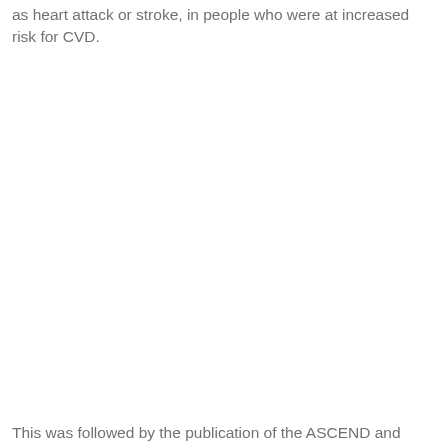as heart attack or stroke, in people who were at increased risk for CVD.
This was followed by the publication of the ASCEND and